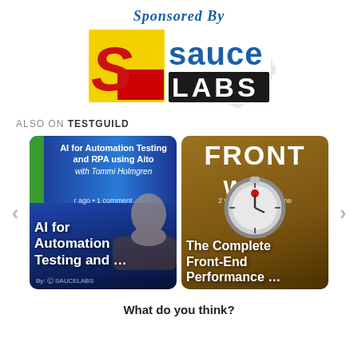[Figure (logo): Sauce Labs sponsor logo with 'Sponsored By' text above it and gear watermark in background]
ALSO ON TESTGUILD
[Figure (screenshot): Carousel of two content cards: left card shows 'AI for Automation Testing and ...' with a person's photo and Sauce Labs branding, timestamp 'r ago • 1 comment'; right card shows 'The Complete Front-End Performance ...' with a stopwatch image, timestamp '2 years ago • 3 comme']
What do you think?